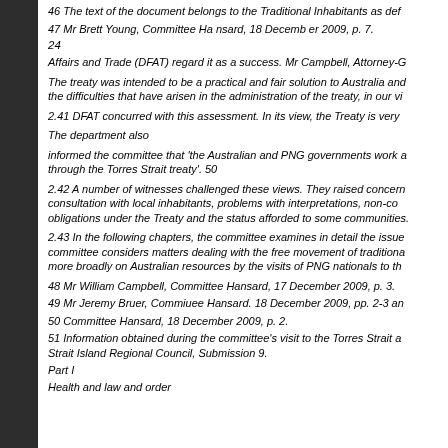46 The text of the document belongs to the Traditional Inhabitants as def
47 Mr Brett Young, Committee Ha nsard, 18 Decemb er 2009, p. 7.
24
Affairs and Trade (DFAT) regard it as a success. Mr Campbell, Attorney-G
The treaty was intended to be a practical and fair solution to Australia and the difficulties that have arisen in the administration of the treaty, in our v
2.41 DFAT concurred with this assessment. In its view, the Treaty is very
The department also
informed the committee that 'the Australian and PNG governments work through the Torres Strait treaty'. 50
2.42 A number of witnesses challenged these views. They raised concerns about consultation with local inhabitants, problems with interpretations, non-compliance with obligations under the Treaty and the status afforded to some communities.
2.43 In the following chapters, the committee examines in detail the issues. The committee considers matters dealing with the free movement of traditional and more broadly on Australian resources by the visits of PNG nationals to th
48 Mr William Campbell, Committee Hansard, 17 December 2009, p. 3.
49 Mr Jeremy Bruer, Commiuee Hansard. 18 December 2009, pp. 2-3 an
50 Committee Hansard, 18 December 2009, p. 2.
51 Information obtained during the committee's visit to the Torres Strait a Strait Island Regional Council, Submission 9.
Part I
Health and law and order